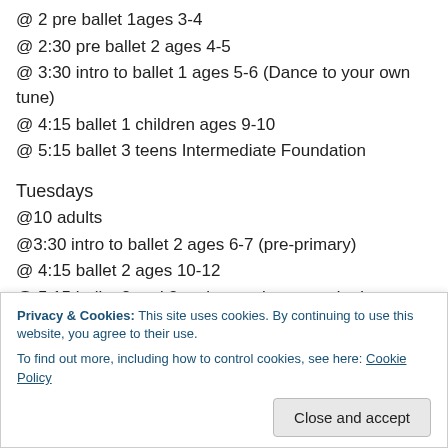@ 2 pre ballet 1ages 3-4
@ 2:30 pre ballet 2 ages 4-5
@ 3:30 intro to ballet 1 ages 5-6 (Dance to your own tune)
@ 4:15 ballet 1 children ages 9-10
@ 5:15 ballet 3 teens Intermediate Foundation
Tuesdays
@10 adults
@3:30 intro to ballet 2 ages 6-7 (pre-primary)
@ 4:15 ballet 2 ages 10-12
@ 5:15 ballet 2 and 3 variety- pointe, pas de deux,
@ 4:15 ballet 1
Privacy & Cookies: This site uses cookies. By continuing to use this website, you agree to their use. To find out more, including how to control cookies, see here: Cookie Policy